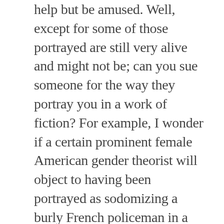help but be amused. Well, except for some of those portrayed are still very alive and might not be; can you sue someone for the way they portray you in a work of fiction? For example, I wonder if a certain prominent female American gender theorist will object to having been portrayed as sodomizing a burly French policeman in a threesome including a prominent female